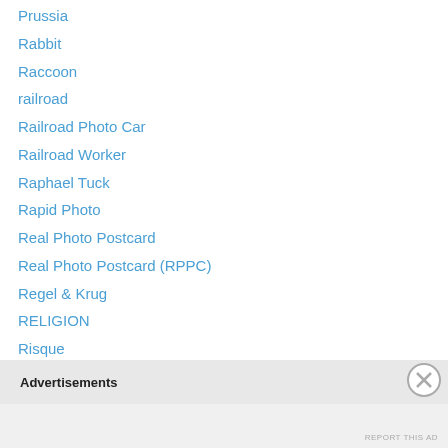Prussia
Rabbit
Raccoon
railroad
Railroad Photo Car
Railroad Worker
Raphael Tuck
Rapid Photo
Real Photo Postcard
Real Photo Postcard (RPPC)
Regel & Krug
RELIGION
Risque
Romania
Ross Verlag
Rotary Photo
Rotograph Company
Advertisements
REPORT THIS AD